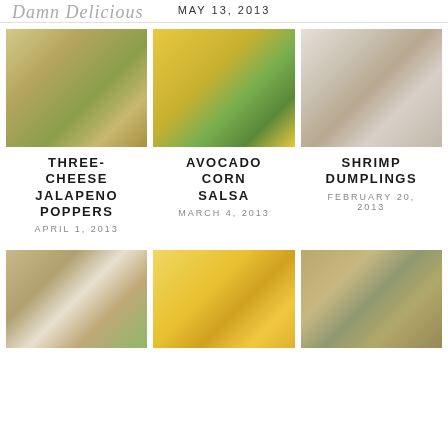Damn Delicious MAY 13, 2013
[Figure (photo): Three-cheese jalapeno poppers - overhead view of stuffed jalapenos with breadcrumb topping on a baking sheet]
[Figure (photo): Avocado corn salsa - colorful bowl of corn, avocado, red onion salsa with chips and avocado in background]
[Figure (photo): Shrimp dumplings - dumplings being dipped in sauce with chopsticks]
THREE-CHEESE JALAPENO POPPERS
APRIL 1, 2013
AVOCADO CORN SALSA
MARCH 4, 2013
SHRIMP DUMPLINGS
FEBRUARY 20, 2013
[Figure (photo): Crackers with tomato and greens appetizer]
[Figure (photo): Pigs in a blanket or similar pastry bites]
[Figure (photo): Breaded chicken strips or similar fried food]